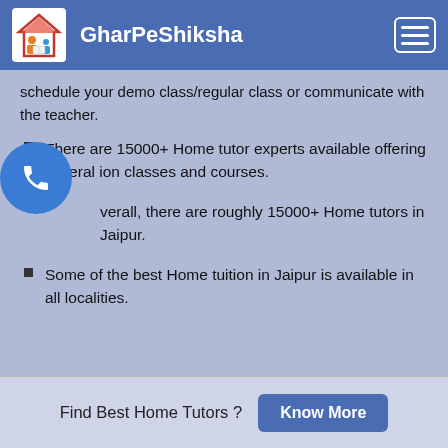GharPeShiksha
schedule your demo class/regular class or communicate with the teacher.
There are 15000+ Home tutor experts available offering several ion classes and courses.
verall, there are roughly 15000+ Home tutors in Jaipur.
Some of the best Home tuition in Jaipur is available in all localities.
Find Best Home Tutors ?